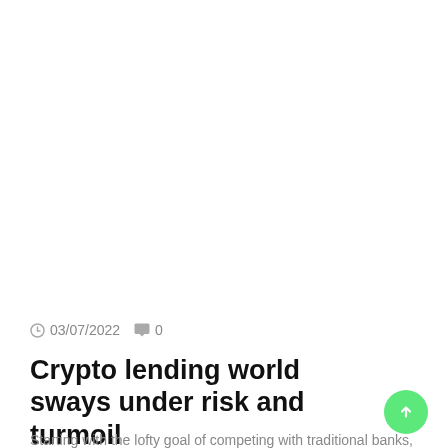Business
03/07/2022  0
Crypto lending world sways under risk and turmoil
Starting with the lofty goal of competing with traditional banks, cryptocurrency lending giants and their clients now face financial ruin…